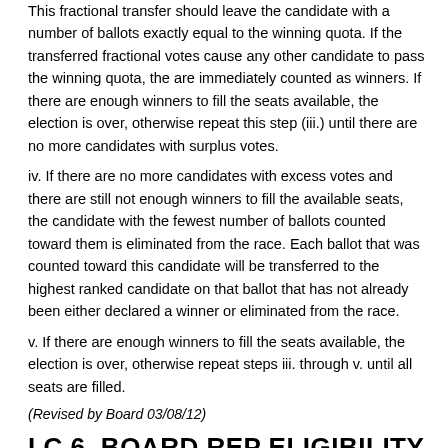This fractional transfer should leave the candidate with a number of ballots exactly equal to the winning quota. If the transferred fractional votes cause any other candidate to pass the winning quota, the are immediately counted as winners. If there are enough winners to fill the seats available, the election is over, otherwise repeat this step (iii.) until there are no more candidates with surplus votes.
iv. If there are no more candidates with excess votes and there are still not enough winners to fill the available seats, the candidate with the fewest number of ballots counted toward them is eliminated from the race. Each ballot that was counted toward this candidate will be transferred to the highest ranked candidate on that ballot that has not already been either declared a winner or eliminated from the race.
v. If there are enough winners to fill the seats available, the election is over, otherwise repeat steps iii. through v. until all seats are filled.
(Revised by Board 03/08/12)
I.C.6. BOARD REP ELIGIBILITY
Pursuant to V.A.7 of the Bylaws.
I.C.7. EXECUTIVE SESSION